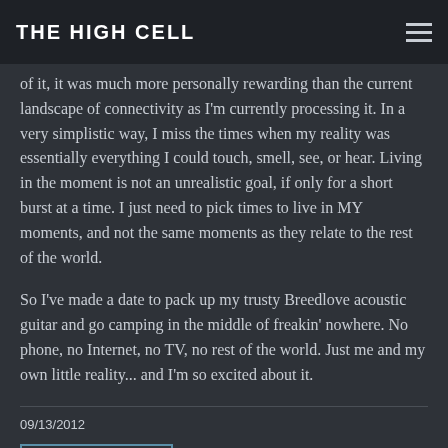THE HIGH CELL
of it, it was much more personally rewarding than the current landscape of connectivity as I'm currently processing it. In a very simplistic way, I miss the times when my reality was essentially everything I could touch, smell, see, or hear. Living in the moment is not an unrealistic goal, if only for a short burst at a time. I just need to pick times to live in MY moments, and not the same moments as they relate to the rest of the world.
So I've made a date to pack up my trusty Breedlove acoustic guitar and go camping in the middle of freakin' nowhere. No phone, no Internet, no TV, no rest of the world. Just me and my own little reality... and I'm so excited about it.
09/13/2012
LEAVE A COMMENT
SHARE